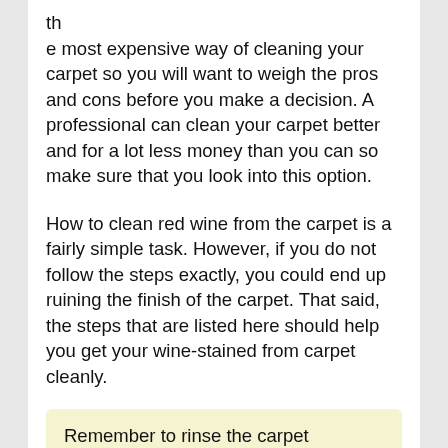th
e most expensive way of cleaning your carpet so you will want to weigh the pros and cons before you make a decision. A professional can clean your carpet better and for a lot less money than you can so make sure that you look into this option.
How to clean red wine from the carpet is a fairly simple task. However, if you do not follow the steps exactly, you could end up ruining the finish of the carpet. That said, the steps that are listed here should help you get your wine-stained from carpet cleanly.
Remember to rinse the carpet